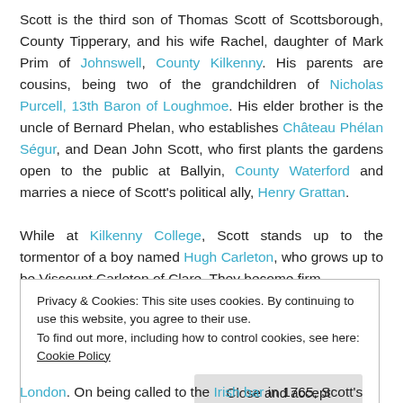Scott is the third son of Thomas Scott of Scottsborough, County Tipperary, and his wife Rachel, daughter of Mark Prim of Johnswell, County Kilkenny. His parents are cousins, being two of the grandchildren of Nicholas Purcell, 13th Baron of Loughmoe. His elder brother is the uncle of Bernard Phelan, who establishes Château Phélan Ségur, and Dean John Scott, who first plants the gardens open to the public at Ballyin, County Waterford and marries a niece of Scott's political ally, Henry Grattan.

While at Kilkenny College, Scott stands up to the tormentor of a boy named Hugh Carleton, who grows up to be Viscount Carleton of Clare. They become firm
Privacy & Cookies: This site uses cookies. By continuing to use this website, you agree to their use.
To find out more, including how to control cookies, see here: Cookie Policy
London. On being called to the Irish bar in 1765, Scott's